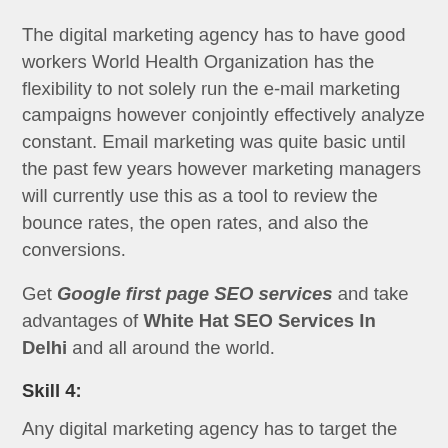The digital marketing agency has to have good workers World Health Organization has the flexibility to not solely run the e-mail marketing campaigns however conjointly effectively analyze constant. Email marketing was quite basic until the past few years however marketing managers will currently use this as a tool to review the bounce rates, the open rates, and also the conversions.
Get Google first page SEO services and take advantages of White Hat SEO Services In Delhi and all around the world.
Skill 4:
Any digital marketing agency has to target the two most significant sections of SEM. The agency has to beware of the optimization of the website, the journal and make quality content because it helps improve organic search. They conjointly have to be compelled to beware of PPC or Pay per click marketing by creating use of Google